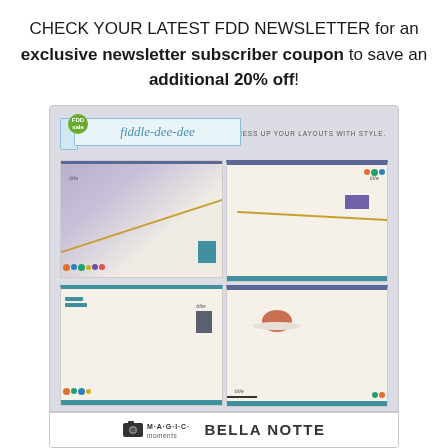CHECK YOUR LATEST FDD NEWSLETTER for an exclusive newsletter subscriber coupon to save an additional 20% off!
[Figure (illustration): Digital scrapbooking product image showing 'Bella Notte' template set by Magic Moments. Features a 2x2 grid of scrapbook layout templates with purple/blue/teal color scheme, floral decorations, and ribbon banner header reading 'fiddle-dee-dee'. Footer shows Magic Moments camera logo and 'BELLA NOTTE' text.]
[Figure (illustration): Dark blue/purple banner strip showing 'MOVIE NIGHT!' text in yellow, with a small badge on the right side.]